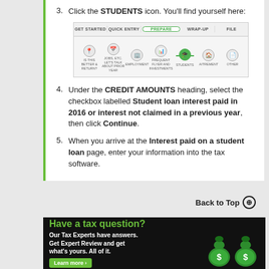3. Click the STUDENTS icon. You'll find yourself here:
[Figure (screenshot): Tax software navigation bar showing tabs: GET STARTED, QUICK ENTRY, PREPARE (active/highlighted in green circle), WRAP-UP, FILE. Below are icons for sections including STUDENTS (active, with green graduation cap icon and green arrow).]
4. Under the CREDIT AMOUNTS heading, select the checkbox labelled Student loan interest paid in 2016 or interest not claimed in a previous year, then click Continue.
5. When you arrive at the Interest paid on a student loan page, enter your information into the tax software.
Back to Top ⊕
[Figure (infographic): Advertisement banner with dark background. Text: 'Have a tax question? Our Tax Experts have answers. Get Expert Review and get what's yours. All of it.' with a 'Learn more' button and green money bag icons with dollar signs.]